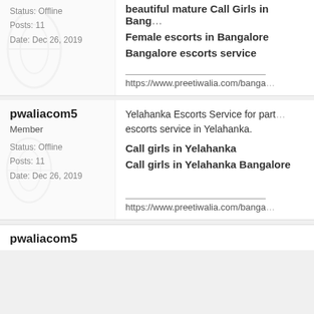Status: Offline
Posts: 11
Date: Dec 26, 2019
beautiful mature Call Girls in Bangalore
Female escorts in Bangalore
Bangalore escorts service
https://www.preetiwalia.com/banga
pwaliacom5
Member
Status: Offline
Posts: 11
Date: Dec 26, 2019
Yelahanka Escorts Service for part... escorts service in Yelahanka.
Call girls in Yelahanka
Call girls in Yelahanka Bangalore
https://www.preetiwalia.com/banga
pwaliacom5